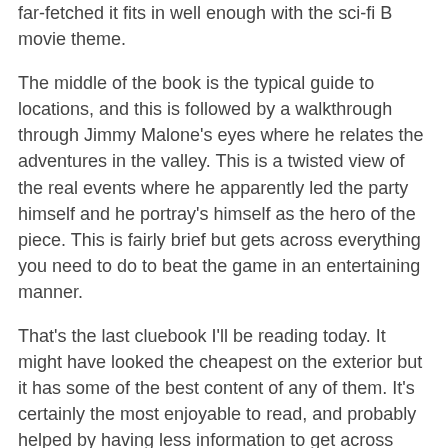far-fetched it fits in well enough with the sci-fi B movie theme.
The middle of the book is the typical guide to locations, and this is followed by a walkthrough through Jimmy Malone's eyes where he relates the adventures in the valley. This is a twisted view of the real events where he apparently led the party himself and he portray's himself as the hero of the piece. This is fairly brief but gets across everything you need to do to beat the game in an entertaining manner.
That's the last cluebook I'll be reading today. It might have looked the cheapest on the exterior but it has some of the best content of any of them. It's certainly the most enjoyable to read, and probably helped by having less information to get across than the larger games in the main series. All of these cluebooks have been well presented though, and are far better than a dry walkthrough. Anyone interested in Ultima who hasn't read them should head over to replacementdocs.com and get